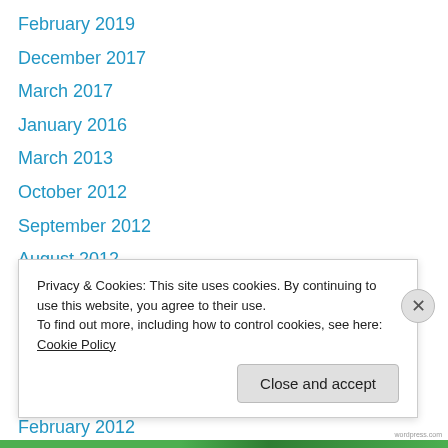February 2019
December 2017
March 2017
January 2016
March 2013
October 2012
September 2012
August 2012
July 2012
June 2012
May 2012
March 2012
February 2012
Privacy & Cookies: This site uses cookies. By continuing to use this website, you agree to their use. To find out more, including how to control cookies, see here: Cookie Policy
Close and accept